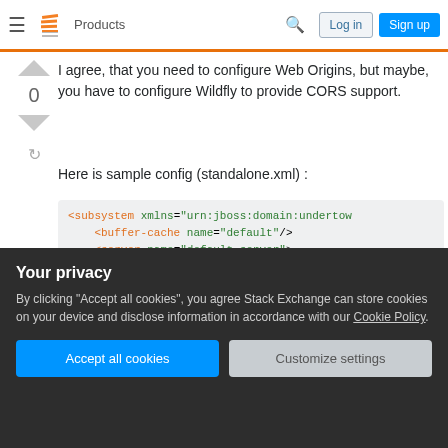≡  [Stack Overflow logo]  Products  🔍  Log in  Sign up
I agree, that you need to configure Web Origins, but maybe, you have to configure Wildfly to provide CORS support.
Here is sample config (standalone.xml) :
[Figure (screenshot): XML code block showing Wildfly standalone.xml configuration with subsystem xmlns tag, buffer-cache, server, http-listener, host, location, and filter-ref elements]
Your privacy
By clicking "Accept all cookies", you agree Stack Exchange can store cookies on your device and disclose information in accordance with our Cookie Policy.
Accept all cookies   Customize settings